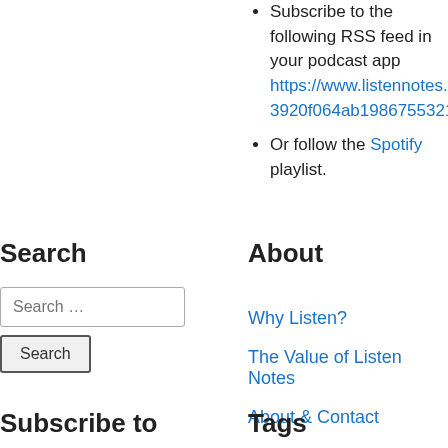Subscribe to the following RSS feed in your podcast app https://www.listennotes.com/3920f064ab198675532157485...
Or follow the Spotify playlist.
Search
About
Search ...
Search
Why Listen?
The Value of Listen Notes
About & Contact
Subscribe to
Tags